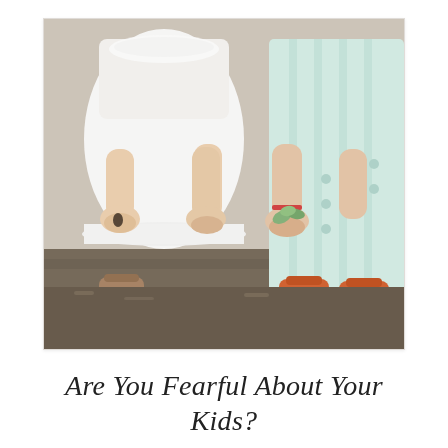[Figure (photo): Two young children standing outdoors, cropped from waist down. One child wears a white ruffled dress with sandals, the other wears a light mint/teal striped dress with orange sandals. Both children are holding out their cupped hands — one holding a small seed, the other holding green leaves or seedlings. The background shows a natural outdoor setting with ground and vegetation.]
Are You Fearful About Your Kids?